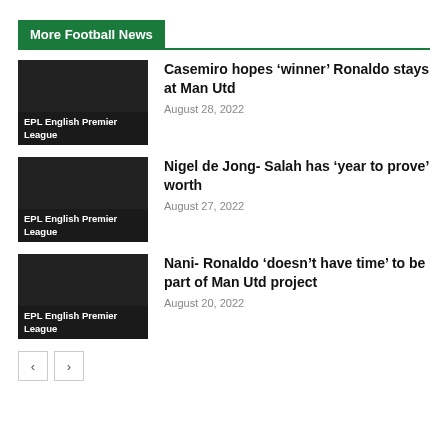More Football News
[Figure (photo): Thumbnail image with EPL English Premier League label]
Casemiro hopes ‘winner’ Ronaldo stays at Man Utd
August 28, 2022
[Figure (photo): Thumbnail image with EPL English Premier League label]
Nigel de Jong- Salah has ‘year to prove’ worth
August 27, 2022
[Figure (photo): Thumbnail image with EPL English Premier League label]
Nani- Ronaldo ‘doesn’t have time’ to be part of Man Utd project
August 20, 2022